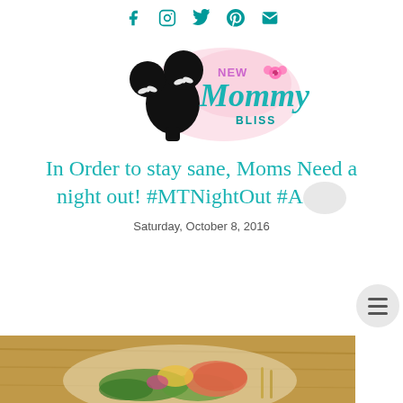[Figure (other): Social media icons row: Facebook, Instagram, Twitter, Pinterest, Email in teal color]
[Figure (logo): New Mommy Bliss logo with black silhouette of girl with puffs and pink watercolor splash, teal cursive text]
In Order to stay sane, Moms Need a night out! #MTNightOut #A...
Saturday, October 8, 2016
[Figure (photo): Food photo showing a plate with salad greens and cooked items on a wooden table surface]